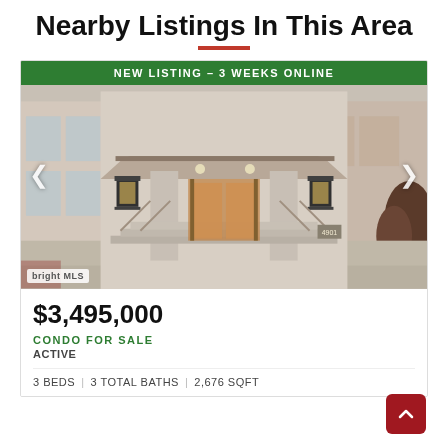Nearby Listings In This Area
[Figure (photo): Exterior entrance of a luxury condominium building with green 'NEW LISTING - 3 WEEKS ONLINE' banner at top. Shows ornate building entrance with steps, lantern-style lights, glass doors, and navigation arrows on sides. Bright MLS watermark in bottom left.]
$3,495,000
CONDO FOR SALE
ACTIVE
3 BEDS  |  3 TOTAL BATHS  |  2,676 SQFT